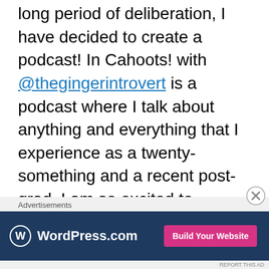We have some very exciting news! After a very long period of deliberation, I have decided to create a podcast! In Cahoots! with @thegingerintrovert is a podcast where I talk about anything and everything that I experience as a twenty-something and a recent post-grad. I am so excited to release this episode, where I take the time to answer some fun and unusual get-to-know me questions!

I am also planning on releasing a playlist with each episode. Below is the playlist for episode 1! You can find it on my Spotify (my username is @writerchic), and you can scan the picture here to
[Figure (other): WordPress.com advertisement banner with 'Build Your Website' button]